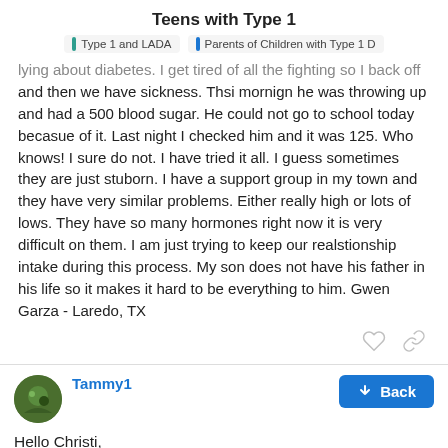Teens with Type 1
Type 1 and LADA | Parents of Children with Type 1 D
lying about diabetes. I get tired of all the fighting so I back off and then we have sickness. Thsi mornign he was throwing up and had a 500 blood sugar. He could not go to school today becasue of it. Last night I checked him and it was 125. Who knows! I sure do not. I have tried it all. I guess sometimes they are just stuborn. I have a support group in my town and they have very similar problems. Either really high or lots of lows. They have so many hormones right now it is very difficult on them. I am just trying to keep our realstionship intake during this process. My son does not have his father in his life so it makes it hard to be everything to him. Gwen Garza - Laredo, TX
Tammy1
May '08
Hello Christi,
I just wanted you to know that my prayers
5 / 46